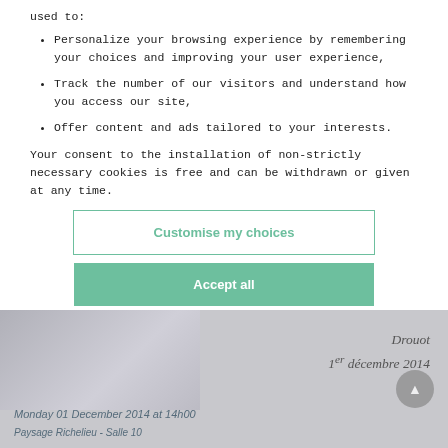used to:
Personalize your browsing experience by remembering your choices and improving your user experience,
Track the number of our visitors and understand how you access our site,
Offer content and ads tailored to your interests.
Your consent to the installation of non-strictly necessary cookies is free and can be withdrawn or given at any time.
Customise my choices
Accept all
[Figure (screenshot): Background auction page showing 'Drouot 1er décembre 2014' text, a partially visible artwork image, a scroll-to-top button, and text 'Monday 01 December 2014 at 14h00' and 'Paysage Richelieu - Salle 10']